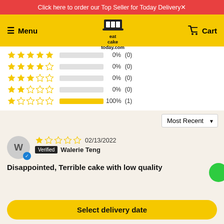Click here to order our Top Seller for Today Delivery
[Figure (screenshot): Navigation bar with hamburger menu, Menu text, eatcaketoday.com logo, and Cart icon on yellow background]
| Stars | Bar | Percentage | Count |
| --- | --- | --- | --- |
| 5 stars |  | 0% | (0) |
| 4 stars |  | 0% | (0) |
| 3 stars |  | 0% | (0) |
| 2 stars |  | 0% | (0) |
| 1 star | filled | 100% | (1) |
Most Recent ▼
W  02/13/2022  Verified  Walerie Teng
Disappointed, Terrible cake with low quality
Select delivery date